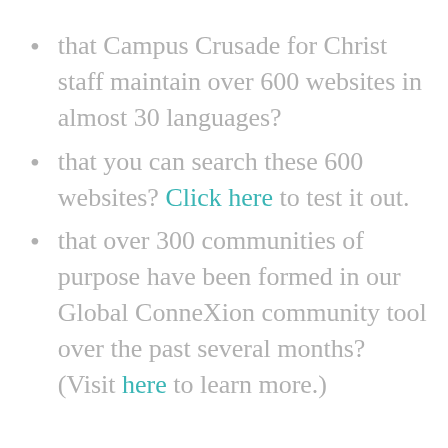that Campus Crusade for Christ staff maintain over 600 websites in almost 30 languages?
that you can search these 600 websites? Click here to test it out.
that over 300 communities of purpose have been formed in our Global ConneXion community tool over the past several months? (Visit here to learn more.)